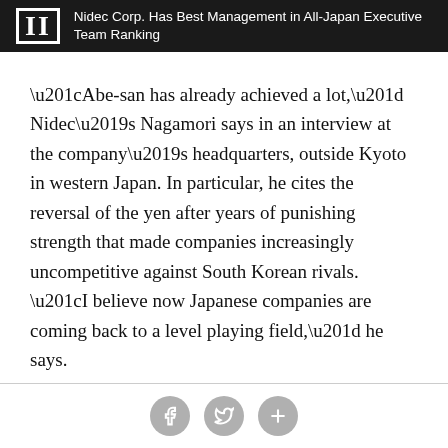II  Nidec Corp. Has Best Management in All-Japan Executive Team Ranking
“Abe-san has already achieved a lot,” Nidec’s Nagamori says in an interview at the company’s headquarters, outside Kyoto in western Japan. In particular, he cites the reversal of the yen after years of punishing strength that made companies increasingly uncompetitive against South Korean rivals. “I believe now Japanese companies are coming back to a level playing field,” he says.
Going forward, much depends on the LDP’s ability to win the July elections for the upper house of Parliament,